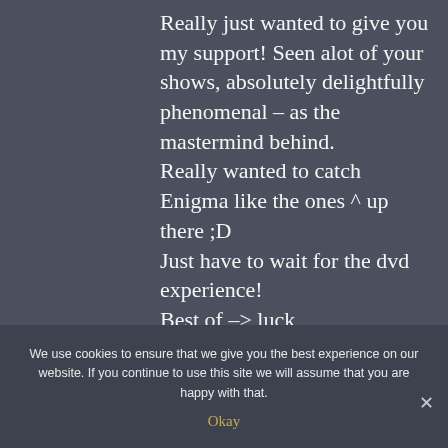Really just wanted to give you my support! Seen alot of your shows, absolutely delightfully phenomenal – as the mastermind behind.
Really wanted to catch Enigma like the ones ^ up there ;D
Just have to wait for the dvd experience!
Best of –> luck
We use cookies to ensure that we give you the best experience on our website. If you continue to use this site we will assume that you are happy with that.
Okay